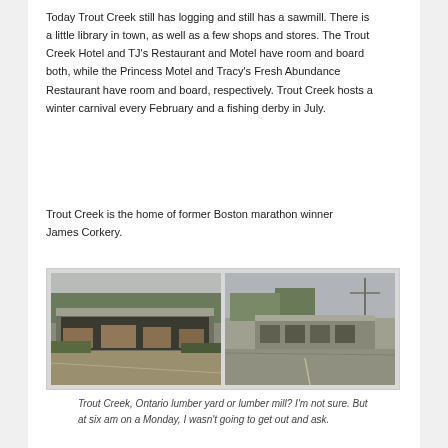Today Trout Creek still has logging and still has a sawmill. There is a little library in town, as well as a few shops and stores. The Trout Creek Hotel and TJ's Restaurant and Motel have room and board both, while the Princess Motel and Tracy's Fresh Abundance Restaurant have room and board, respectively. Trout Creek hosts a winter carnival every February and a fishing derby in July.
Trout Creek is the home of former Boston marathon winner James Corkery.
[Figure (photo): Two side-by-side photographs of what appears to be a lumber yard or lumber mill in Trout Creek, Ontario. The left photo shows a large open-sided covered structure with lumber stored underneath, surrounded by trees and a road in the foreground. The right photo shows a similar industrial building with a road in the foreground and utility poles visible.]
Trout Creek, Ontario lumber yard or lumber mill? I'm not sure. But at six am on a Monday, I wasn't going to get out and ask.